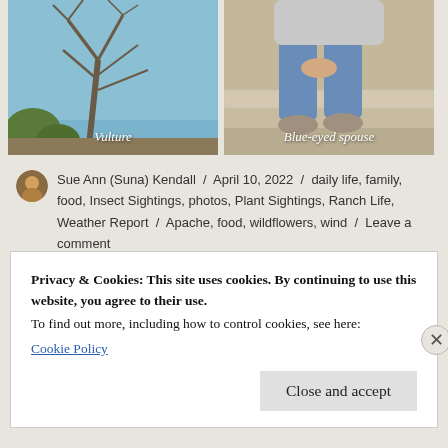[Figure (photo): Two side-by-side photos: left shows bare tree branches against blue sky labeled 'Vulture'; right shows a person in blue jeans sitting on steps labeled 'Blue-eyed spouse']
Sue Ann (Suna) Kendall / April 10, 2022 / daily life, family, food, Insect Sightings, photos, Plant Sightings, Ranch Life, Weather Report / Apache, food, wildflowers, wind / Leave a comment
Privacy & Cookies: This site uses cookies. By continuing to use this website, you agree to their use.
To find out more, including how to control cookies, see here:
Cookie Policy
Close and accept